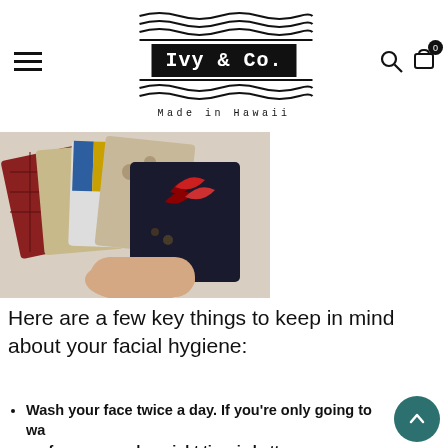[Figure (logo): Ivy & Co. Made in Hawaii logo with wavy lines stamp, hamburger menu icon, search icon, and shopping cart with badge showing 0]
[Figure (photo): A hand holding several fabric face masks with various Hawaiian-style patterns including plaid, floral, and tropical designs]
Here are a few key things to keep in mind about your facial hygiene:
Wash your face twice a day. If you're only going to wash your face once a day, night time is better.